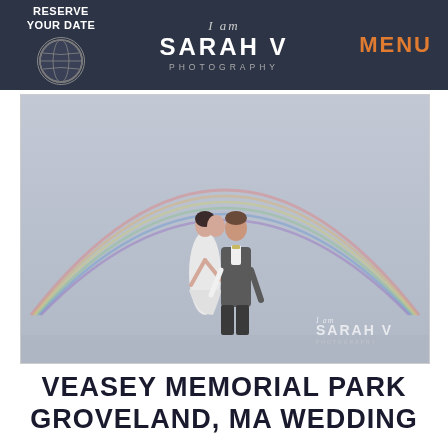RESERVE YOUR DATE | I am SARAH V PHOTOGRAPHY | MENU
[Figure (photo): Wedding couple kissing under a full rainbow in a pale grey sky. The bride wears a white lace dress and the groom wears a grey vest and white shirt. A Sarah V Photography watermark logo appears in the bottom right corner of the photo.]
VEASEY MEMORIAL PARK GROVELAND, MA WEDDING